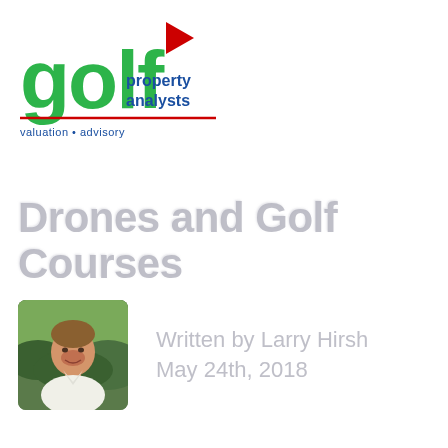[Figure (logo): Golf Property Analysts logo with green 'golf' text, red flag on the 'l', blue 'property analysts' text, red horizontal line, and blue tagline 'valuation • advisory']
Drones and Golf Courses
[Figure (photo): Headshot photo of Larry Hirsh, a man smiling outdoors with greenery in the background]
Written by Larry Hirsh
May 24th, 2018